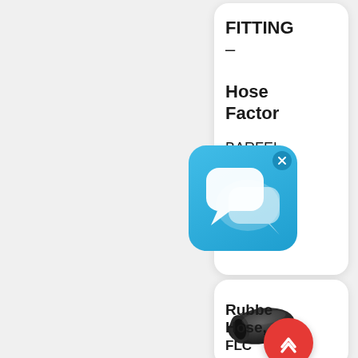FITTING – Hose Factor
BARFEL Nitt Style Quick Connect Barb
[Figure (photo): A black rubber hose end/fitting product photo]
Rubber Hose, FLC...